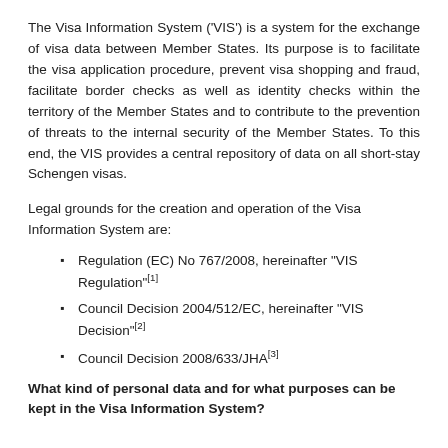The Visa Information System ('VIS') is a system for the exchange of visa data between Member States. Its purpose is to facilitate the visa application procedure, prevent visa shopping and fraud, facilitate border checks as well as identity checks within the territory of the Member States and to contribute to the prevention of threats to the internal security of the Member States. To this end, the VIS provides a central repository of data on all short-stay Schengen visas.
Legal grounds for the creation and operation of the Visa Information System are:
Regulation (EC) No 767/2008, hereinafter "VIS Regulation"[1]
Council Decision 2004/512/EC, hereinafter "VIS Decision"[2]
Council Decision 2008/633/JHA[3]
What kind of personal data and for what purposes can be kept in the Visa Information System?